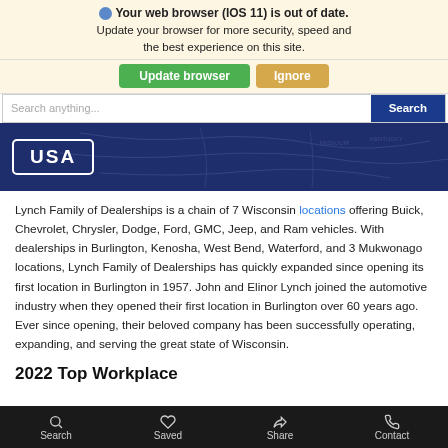Your web browser (IOS 11) is out of date. Update your browser for more security, speed and the best experience on this site.
Update browser | Ignore
Search anything...  Search
[Figure (map): Dark blue map banner showing USA badge/label on left over a faded US map background]
Lynch Family of Dealerships is a chain of 7 Wisconsin locations offering Buick, Chevrolet, Chrysler, Dodge, Ford, GMC, Jeep, and Ram vehicles. With dealerships in Burlington, Kenosha, West Bend, Waterford, and 3 Mukwonago locations, Lynch Family of Dealerships has quickly expanded since opening its first location in Burlington in 1957. John and Elinor Lynch joined the automotive industry when they opened their first location in Burlington over 60 years ago. Ever since opening, their beloved company has been successfully operating, expanding, and serving the great state of Wisconsin.
2022 Top Workplace
Search  Saved  Share  Contact